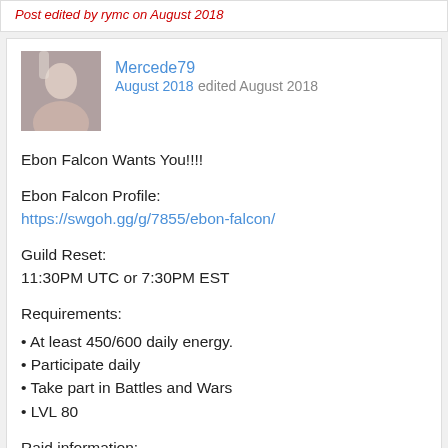Post edited by rymc on August 2018
Mercede79
August 2018 edited August 2018
Ebon Falcon Wants You!!!!
Ebon Falcon Profile:
https://swgoh.gg/g/7855/ebon-falcon/
Guild Reset:
11:30PM UTC or 7:30PM EST
Requirements:
• At least 450/600 daily energy.
• Participate daily
• Take part in Battles and Wars
• LVL 80
Raid information:
We start all raids at 8PM EST. We do Hpit, T6 AAT, and T4